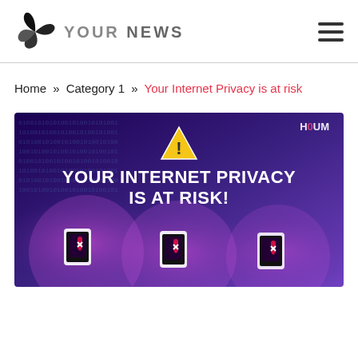YOUR NEWS
Home » Category 1 » Your Internet Privacy is at risk
[Figure (illustration): Promotional image with dark purple/blue background showing binary code, a yellow warning triangle icon, bold white text reading 'YOUR INTERNET PRIVACY IS AT RISK!', three shield icons with X marks on mobile devices inside circular glowing overlays, and 'HOUM' logo in top right corner.]